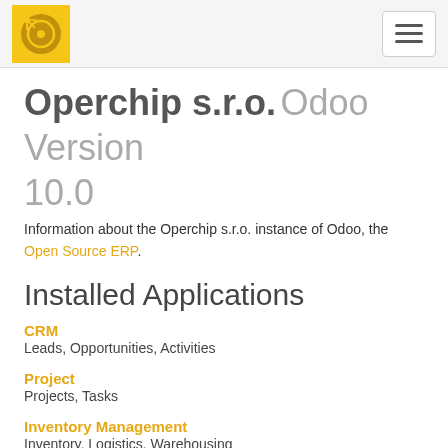Operchip s.r.o. – navigation header with logo and hamburger menu
Operchip s.r.o. Odoo Version 10.0
Information about the Operchip s.r.o. instance of Odoo, the Open Source ERP.
Installed Applications
CRM
Leads, Opportunities, Activities
Project
Projects, Tasks
Inventory Management
Inventory, Logistics, Warehousing